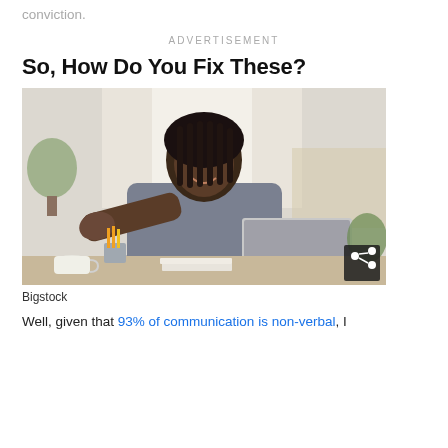conviction.
ADVERTISEMENT
So, How Do You Fix These?
[Figure (photo): A smiling Black woman in a grey blazer sitting at a desk with a laptop, extending her hand forward toward the camera in a handshake gesture. On the desk are a coffee cup, pencil holder with pencils, and papers. Background is a bright, slightly blurred office or home office setting.]
Bigstock
Well, given that 93% of communication is non-verbal, I